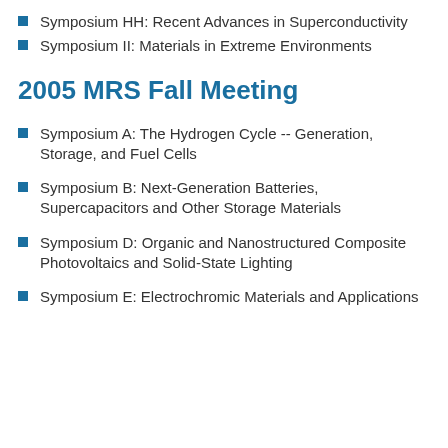Symposium HH: Recent Advances in Superconductivity
Symposium II: Materials in Extreme Environments
2005 MRS Fall Meeting
Symposium A: The Hydrogen Cycle -- Generation, Storage, and Fuel Cells
Symposium B: Next-Generation Batteries, Supercapacitors and Other Storage Materials
Symposium D: Organic and Nanostructured Composite Photovoltaics and Solid-State Lighting
Symposium E: Electrochromic Materials and Applications